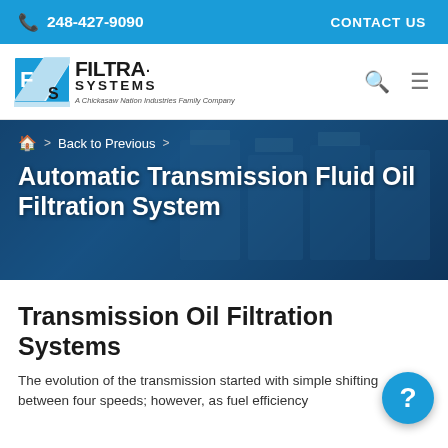📞 248-427-9090    CONTACT US
[Figure (logo): Filtra Systems logo with FS emblem and text 'FILTRA SYSTEMS - A Chickasaw Nation Industries Family Company']
Back to Previous
Automatic Transmission Fluid Oil Filtration System
Transmission Oil Filtration Systems
The evolution of the transmission started with simple shifting between four speeds; however, as fuel efficiency